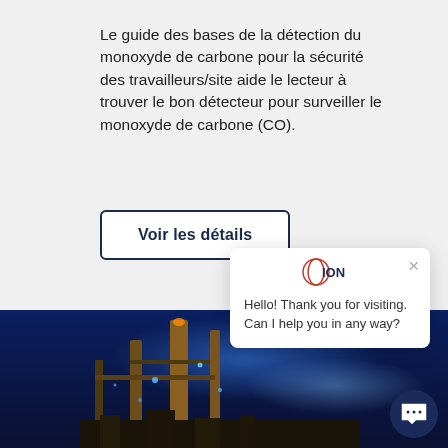Le guide des bases de la détection du monoxyde de carbone pour la sécurité des travailleurs/site aide le lecteur à trouver le bon détecteur pour surveiller le monoxyde de carbone (CO).
Voir les détails
[Figure (screenshot): ION chat widget popup saying: Hello! Thank you for visiting. Can I help you in any way? with a close (x) button and ION logo at top]
[Figure (photo): Industrial facility/refinery at night with blue lighting, pipes, towers and industrial equipment]